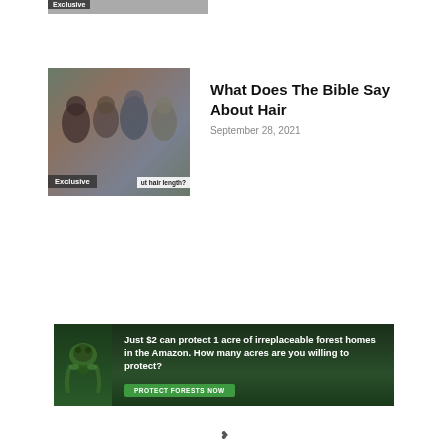[Figure (photo): Partial top card showing Exclusive badge and partial photo thumbnail]
[Figure (photo): Article thumbnail photo showing group of young people looking at something together, with Exclusive badge overlay and text 'about hair length?']
What Does The Bible Say About Hair
September 28, 2021
[Figure (infographic): Amazon forest protection advertisement banner with sloth image. Text: 'Just $2 can protect 1 acre of irreplaceable forest homes in the Amazon. How many acres are you willing to protect?' with green 'PROTECT FORESTS NOW' button]